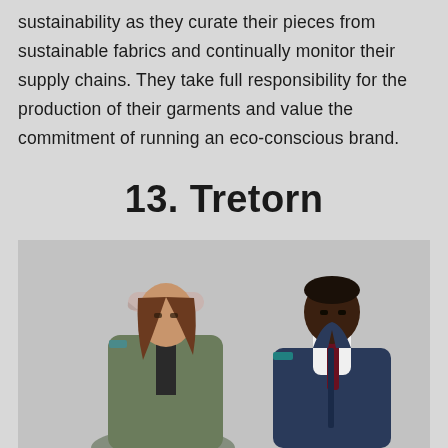sustainability as they curate their pieces from sustainable fabrics and continually monitor their supply chains. They take full responsibility for the production of their garments and value the commitment of running an eco-conscious brand.
13. Tretorn
[Figure (photo): Two models wearing Tretorn outerwear — a woman in an olive green rain jacket with a light pink cap, and a man in a navy blue zip jacket with a white turtleneck and dark red tie, against a light grey background.]